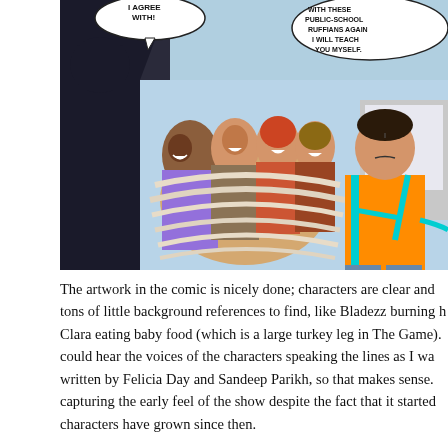[Figure (illustration): Comic book panel showing a group of children/teenagers. Several kids are bound together with rope/wrapping, smiling mischievously. A boy in an orange shirt with a teal backpack strap stands to the right looking upset. Speech bubbles at the top read 'I AGREE WITH!' and 'WITH THESE PUBLIC-SCHOOL RUFFIANS AGAIN I WILL TEACH YOU MYSELF.']
The artwork in the comic is nicely done; characters are clear and tons of little background references to find, like Bladezz burning h Clara eating baby food (which is a large turkey leg in The Game). could hear the voices of the characters speaking the lines as I wa written by Felicia Day and Sandeep Parikh, so that makes sense. capturing the early feel of the show despite the fact that it started characters have grown since then.